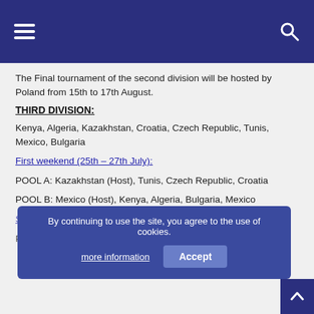Navigation bar with hamburger menu and search icon
The Final tournament of the second division will be hosted by Poland from 15th to 17th August.
THIRD DIVISION:
Kenya, Algeria, Kazakhstan, Croatia, Czech Republic, Tunis, Mexico, Bulgaria
First weekend (25th – 27th July):
POOL A: Kazakhstan (Host), Tunis, Czech Republic, Croatia
POOL B: Mexico (Host), Kenya, Algeria, Bulgaria, Mexico
SECOND weekend (partially obscured)
POOL C: Czech Republic (Host), Kazakhstan, Algeria, Mexico